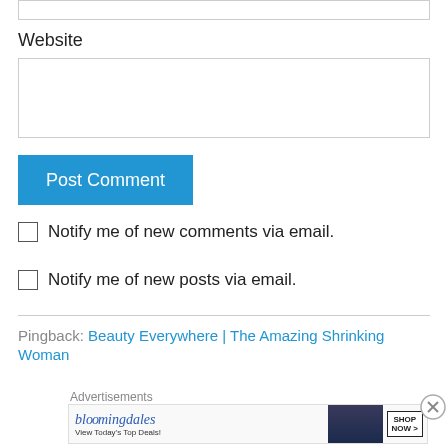Website
Post Comment
Notify me of new comments via email.
Notify me of new posts via email.
Pingback: Beauty Everywhere | The Amazing Shrinking Woman
[Figure (screenshot): Bloomingdale's advertisement banner: 'View Today's Top Deals!' with SHOP NOW button and woman in hat photo]
Advertisements